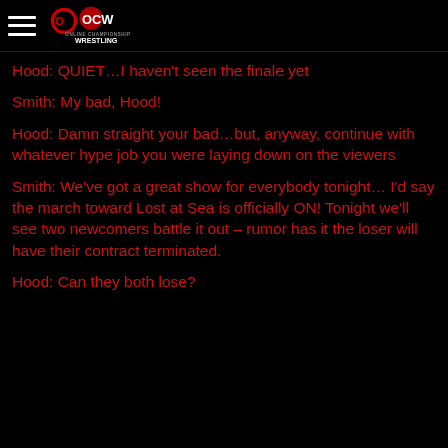OCW Online Championship Wrestling
Hood: QUIET…I haven't seen the finale yet
Smith: My bad, Hood!
Hood: Damn straight your bad…but, anyway, continue with whatever hype job you were laying down on the viewers
Smith: We've got a great show for everybody tonight… I'd say the march toward Lost at Sea is officially ON! Tonight we'll see two newcomers battle it out – rumor has it the loser will have their contract terminated.
Hood: Can they both lose?